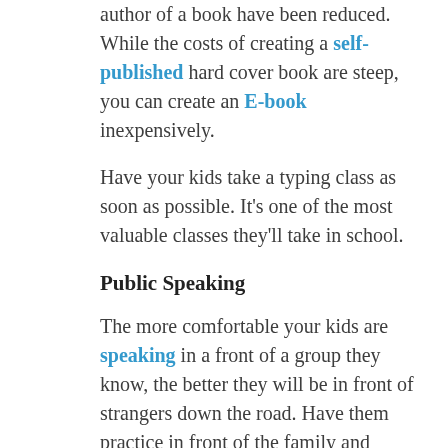author of a book have been reduced.  While the costs of creating a self-published hard cover book are steep, you can create an E-book inexpensively.
Have your kids take a typing class as soon as possible.  It's one of the most valuable classes they'll take in school.
Public Speaking
The more comfortable your kids are speaking in a front of a group they know, the better they will be in front of strangers down the road.  Have them practice in front of the family and videotape the speech.  Start simple until they find their rhythm.  From there you can have them start to memorize a short speech.  View the videotape with them and suggest improvements.
It's the end of your kids birthday party and you say thank you to everyone.  Instead of you speaking, give